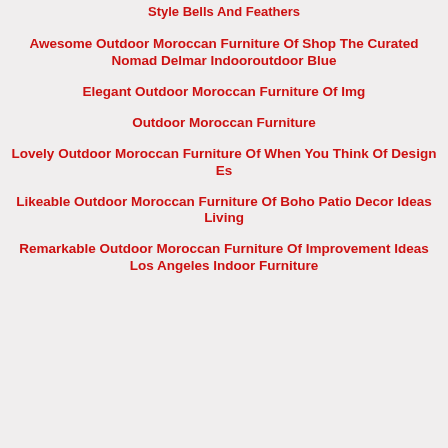Style Bells And Feathers
Awesome Outdoor Moroccan Furniture Of Shop The Curated Nomad Delmar Indooroutdoor Blue
Elegant Outdoor Moroccan Furniture Of Img
Outdoor Moroccan Furniture
Lovely Outdoor Moroccan Furniture Of When You Think Of Design Es
Likeable Outdoor Moroccan Furniture Of Boho Patio Decor Ideas Living
Remarkable Outdoor Moroccan Furniture Of Improvement Ideas Los Angeles Indoor Furniture